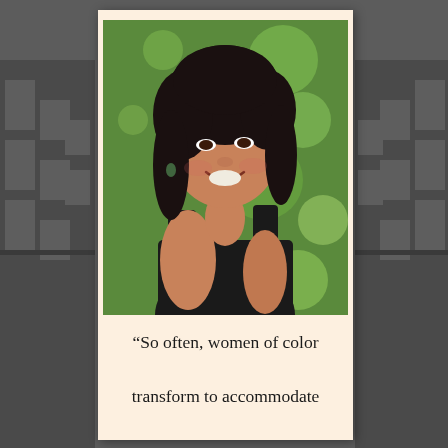[Figure (photo): Portrait photograph of a smiling Asian woman with dark shoulder-length hair, wearing a black sleeveless top, with a blurred green outdoor background]
“So often, women of color transform to accommodate